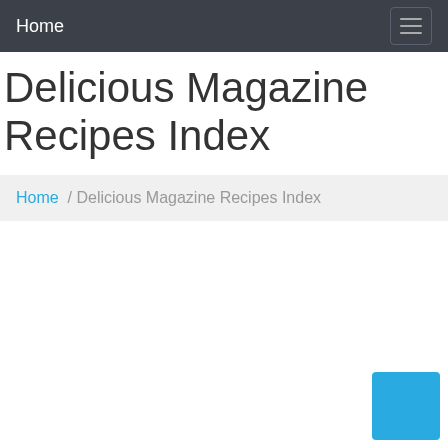Home
Delicious Magazine Recipes Index
Home / Delicious Magazine Recipes Index